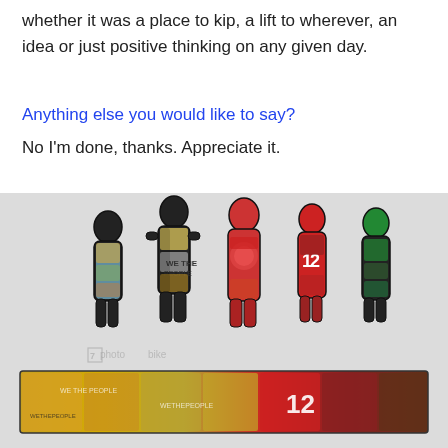whether it was a place to kip, a lift to wherever, an idea or just positive thinking on any given day.
Anything else you would like to say?
No I’m done, thanks. Appreciate it.
[Figure (photo): Colorful collage art showing five human silhouette figures filled with sticker/magazine collage imagery, standing on a decorated rectangular base. Background is light grey. A watermark overlay is partially visible. The base/pedestal is covered in colorful collage stickers including text 'WE THE PEOPLE' and the number 12.]